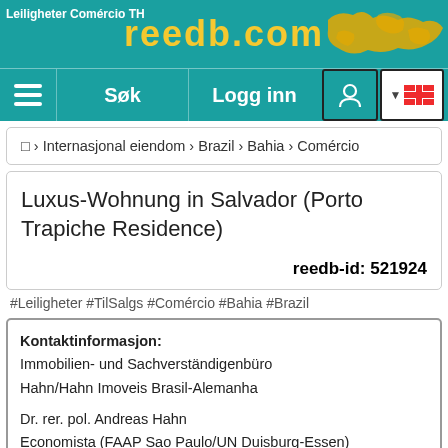reedb.com — Leiligheter Comércio TH
□ › Internasjonal eiendom › Brazil › Bahia › Comércio
Luxus-Wohnung in Salvador (Porto Trapiche Residence)
reedb-id: 521924
#Leiligheter #TilSalgs #Comércio #Bahia #Brazil
Kontaktinformasjon:
Immobilien- und Sachverständigenbüro
Hahn/Hahn Imoveis Brasil-Alemanha

Dr. rer. pol. Andreas Hahn
Economista (FAAP Sao Paulo/UN Duisburg-Essen)
e Gestor Imobiliário

Viaduto Nove de Julho 165